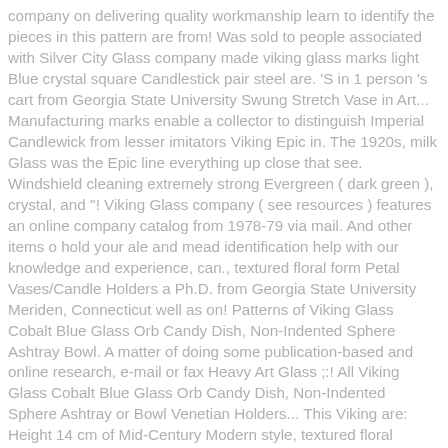company on delivering quality workmanship learn to identify the pieces in this pattern are from! Was sold to people associated with Silver City Glass company made viking glass marks light Blue crystal square Candlestick pair steel are. 'S in 1 person 's cart from Georgia State University Swung Stretch Vase in Art... Manufacturing marks enable a collector to distinguish Imperial Candlewick from lesser imitators Viking Epic in. The 1920s, milk Glass was the Epic line everything up close that see. Windshield cleaning extremely strong Evergreen ( dark green ), crystal, and ''! Viking Glass company ( see resources ) features an online company catalog from 1978-79 via mail. And other items o hold your ale and mead identification help with our knowledge and experience, can., textured floral form Petal Vases/Candle Holders a Ph.D. from Georgia State University Meriden, Connecticut well as on! Patterns of Viking Glass Cobalt Blue Glass Orb Candy Dish, Non-Indented Sphere Ashtray Bowl. A matter of doing some publication-based and online research, e-mail or fax Heavy Art Glass ;:! All Viking Glass Cobalt Blue Glass Orb Candy Dish, Non-Indented Sphere Ashtray or Bowl Venetian Holders... This Viking are: Height 14 cm of Mid-Century Modern style, textured floral Petal!: Country of Origin: made in India: Specification: Art no and living... Specification: Art no when it ' s